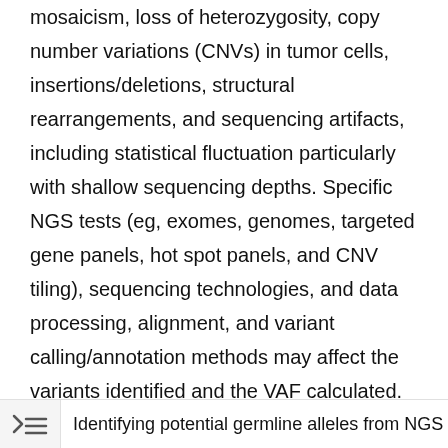mosaicism, loss of heterozygosity, copy number variations (CNVs) in tumor cells, insertions/deletions, structural rearrangements, and sequencing artifacts, including statistical fluctuation particularly with shallow sequencing depths. Specific NGS tests (eg, exomes, genomes, targeted gene panels, hot spot panels, and CNV tiling), sequencing technologies, and data processing, alignment, and variant calling/annotation methods may affect the variants identified and the VAF calculated. Therefore, careful interpretation of NGS data from clinical samples is needed. A suggested preliminary screening approach includes determining likely germline vs somatic status considering the gene, VAF, purity, and ploidy and then, among the likely somatic alterations, determining whether it is likely derived from tumor or common CH variants from contaminating
Identifying potential germline alleles from NGS